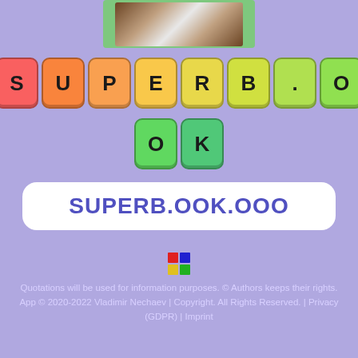[Figure (photo): Partial photo of an object (appears to be a globe or ball) shown at top, with green border]
[Figure (illustration): Row of colored letter tiles spelling SUPERB.O in rainbow gradient colors (red, orange, light orange, yellow, yellow-green, green-yellow, light green, bright green)]
[Figure (illustration): Second row of colored letter tiles spelling OK in green and teal colors]
SUPERB.OOK.OOO
[Figure (logo): Small Rubik's cube style 2x2 grid icon with red, blue, yellow, green squares]
Quotations will be used for information purposes. © Authors keeps their rights.
App © 2020-2022 Vladimir Nechaev | Copyright. All Rights Reserved. | Privacy (GDPR) | Imprint